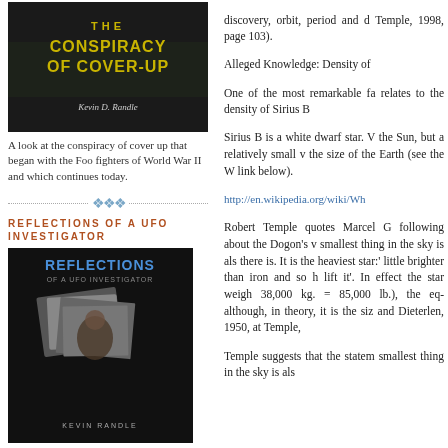[Figure (photo): Book cover of 'The Conspiracy of Cover-Up' by Kevin D. Randle, dark background with yellow text]
A look at the conspiracy of cover up that began with the Foo fighters of World War II and which continues today.
REFLECTIONS OF A UFO INVESTIGATOR
[Figure (photo): Book cover of 'Reflections of a UFO Investigator' by Kevin Randle, dark background with blue title and photo collage]
The true story of a personal search in the world of the UFO. Click on cover.
discovery, orbit, period and d... Temple, 1998, page 103).
Alleged Knowledge: Density of...
One of the most remarkable fa... relates to the density of Sirius B...
Sirius B is a white dwarf star. V... the Sun, but a relatively small v... the size of the Earth (see the W... link below).
http://en.wikipedia.org/wiki/Wh...
Robert Temple quotes Marcel G... following about the Dogon's v... smallest thing in the sky is als... there is. It is the heaviest star:'... little brighter than iron and so h... lift it'. In effect the star weigh... 38,000 kg. = 85,000 lb.), the eq... although, in theory, it is the siz... and Dieterlen, 1950, at Temple,...
Temple suggests that the statem... smallest thing in the sky is als...